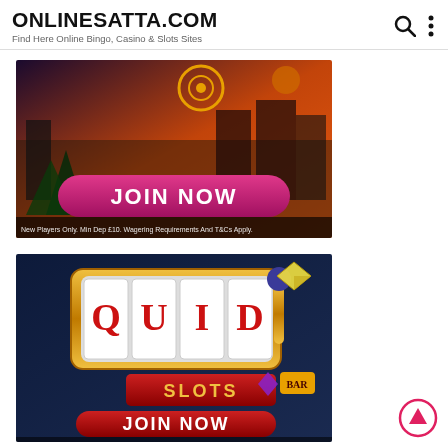ONLINESATTA.COM
Find Here Online Bingo, Casino & Slots Sites
[Figure (screenshot): Casino advertisement banner with dark cityscape background, pink 'JOIN NOW' button, and text 'New Players Only, Min Dep £10, Wagering Requirements And T&Cs Apply']
[Figure (screenshot): Quid Slots casino advertisement with slot machine graphic showing Q-U-I-D letters on gold reels, red SLOTS banner, red 'JOIN NOW' button, and text 'New Players Only, Min Dep £10, Wagering Requirements And T&Cs Apply']